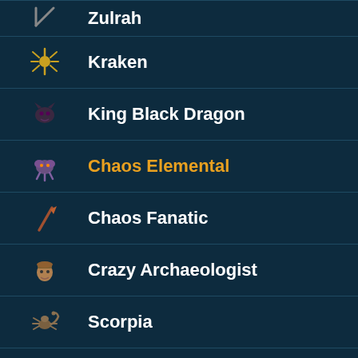Zulrah
Kraken
King Black Dragon
Chaos Elemental
Chaos Fanatic
Crazy Archaeologist
Scorpia
Callisto
Venanatis (partial)